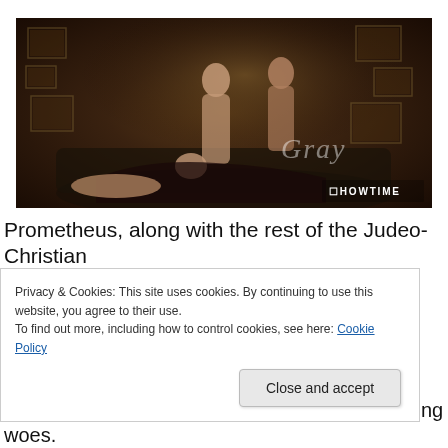[Figure (photo): A cinematic still showing figures reclining on a dark sofa in a room decorated with framed paintings. SHOWTIME logo is visible in the lower right corner with a script watermark reading 'Gray'.]
Prometheus, along with the rest of the Judeo-Christian
Privacy & Cookies: This site uses cookies. By continuing to use this website, you agree to their use.
To find out more, including how to control cookies, see here: Cookie Policy
fleeting joys Of Paradise, dear bought with lasting woes.